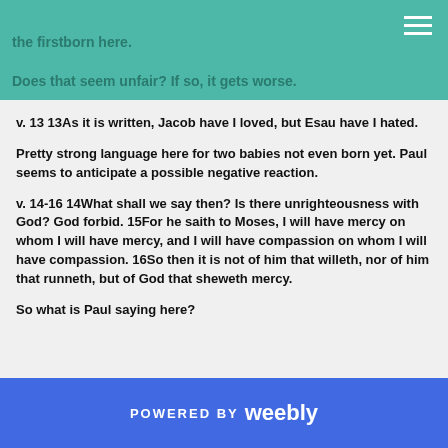the firstborn here.
Does that seem unfair? If so, it gets worse.
v. 13 13As it is written, Jacob have I loved, but Esau have I hated.
Pretty strong language here for two babies not even born yet. Paul seems to anticipate a possible negative reaction.
v. 14-16 14What shall we say then? Is there unrighteousness with God? God forbid. 15For he saith to Moses, I will have mercy on whom I will have mercy, and I will have compassion on whom I will have compassion. 16So then it is not of him that willeth, nor of him that runneth, but of God that sheweth mercy.
So what is Paul saying here?
POWERED BY weebly